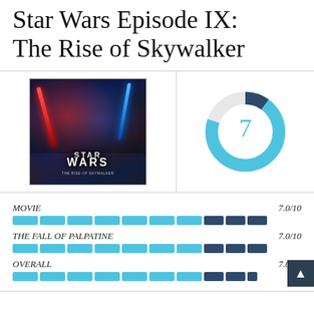Star Wars Episode IX: The Rise of Skywalker
[Figure (donut-chart): Overall Score]
MOVIE  7.0/10
THE FALL OF PALPATINE  7.0/10
OVERALL  7.0/10